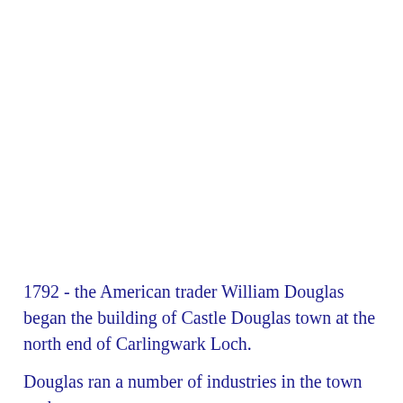1792 - the American trader William Douglas began the building of Castle Douglas town at the north end of Carlingwark Loch.
Douglas ran a number of industries in the town such as